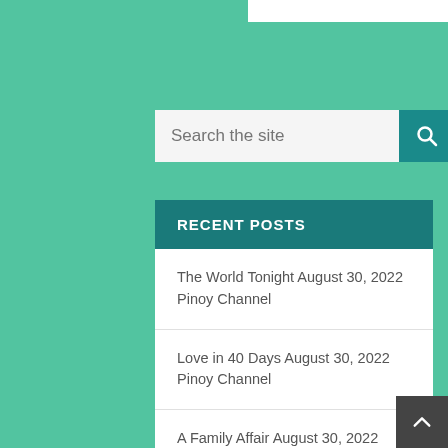[Figure (screenshot): Search bar with teal background and search button]
RECENT POSTS
The World Tonight August 30, 2022 Pinoy Channel
Love in 40 Days August 30, 2022 Pinoy Channel
A Family Affair August 30, 2022 Pinoy Channel
2 Good 2 Be True August 30, 2022 Pinoy Channel